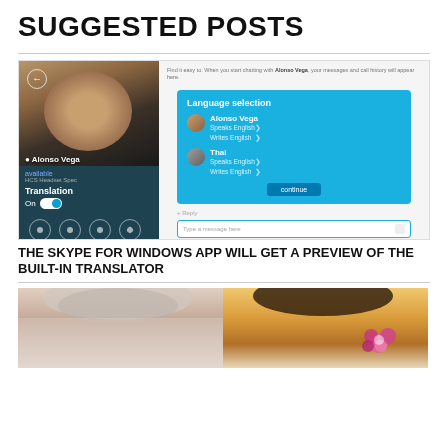SUGGESTED POSTS
[Figure (screenshot): Screenshot of Skype for Windows app showing a contact 'Alonso Vega' with translation toggle on, and a Language Selection dialog in teal/cyan color with two users and a Continue button, plus a message input field at bottom.]
THE SKYPE FOR WINDOWS APP WILL GET A PREVIEW OF THE BUILT-IN TRANSLATOR
[Figure (photo): Two side-by-side cropped photos showing tops of heads — left photo shows a person with light/gray hair, right photo shows a person with dark hair and a floral hair accessory with pink/purple flowers.]